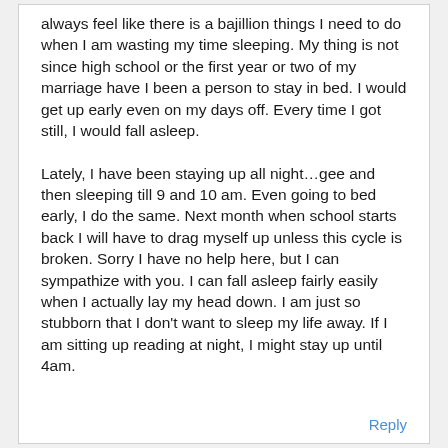always feel like there is a bajillion things I need to do when I am wasting my time sleeping. My thing is not since high school or the first year or two of my marriage have I been a person to stay in bed. I would get up early even on my days off. Every time I got still, I would fall asleep.
Lately, I have been staying up all night...gee and then sleeping till 9 and 10 am. Even going to bed early, I do the same. Next month when school starts back I will have to drag myself up unless this cycle is broken. Sorry I have no help here, but I can sympathize with you. I can fall asleep fairly easily when I actually lay my head down. I am just so stubborn that I don't want to sleep my life away. If I am sitting up reading at night, I might stay up until 4am.
Reply